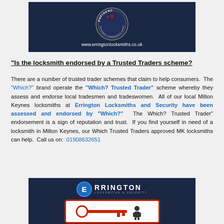[Figure (logo): Errington Locksmiths trading standards approved badge with dark navy background and website URL www.erringtonlocksmiths.co.uk]
"Is the locksmith endorsed by a Trusted Traders scheme?
There are a number of trusted trader schemes that claim to help consumers. The "Which?" brand operate the "Which? Trusted Trader" scheme whereby they assess and endorse local tradesmen and tradeswomen. All of our local Milton Keynes locksmiths at Errington Locksmiths and Security have been assessed and endorsed by "Which?" The Which? Trusted Trader" endorsement is a sign of reputation and trust. If you find yourself in need of a locksmith in Milton Keynes, our Which Trusted Traders approved MK locksmiths can help. Call us on: 01908632651
[Figure (logo): Errington Locksmiths and Security logo on dark navy background with key graphic below]